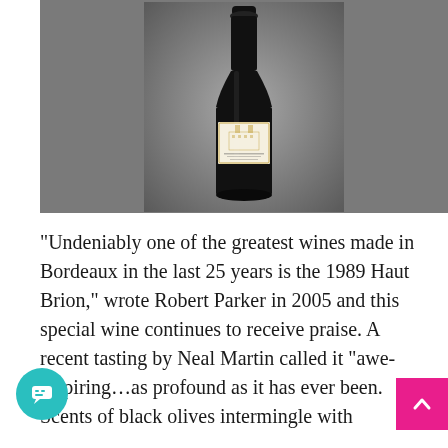[Figure (photo): A dark wine bottle with a white label showing a chateau illustration (Haut Brion), photographed against a gray gradient background.]
“Undeniably one of the greatest wines made in Bordeaux in the last 25 years is the 1989 Haut Brion,” wrote Robert Parker in 2005 and this special wine continues to receive praise. A recent tasting by Neal Martin called it “awe-inspiring…as profound as it has ever been. Scents of black olives intermingle with